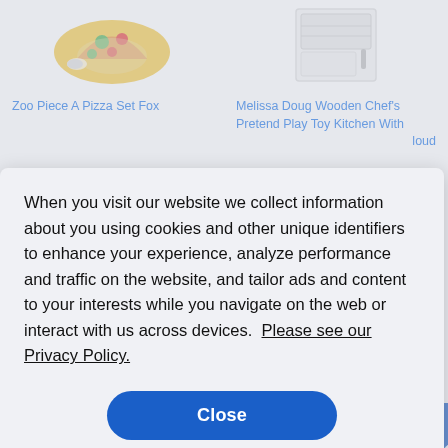[Figure (photo): Product image of Zoo Piece A Pizza Set Fox toy - colorful pizza pieces on a yellow board]
[Figure (photo): Product image of Melissa Doug Wooden Chef's Pretend Play Toy Kitchen - white kitchen unit]
Zoo Piece A Pizza Set Fox
Melissa Doug Wooden Chef's Pretend Play Toy Kitchen With loud
nfo)
B)
When you visit our website we collect information about you using cookies and other unique identifiers to enhance your experience, analyze performance and traffic on the website, and tailor ads and content to your interests while you navigate on the web or interact with us across devices.  Please see our Privacy Policy.
Close
[Figure (photo): Partial product image at bottom left]
[Figure (photo): Partial product image at bottom right]